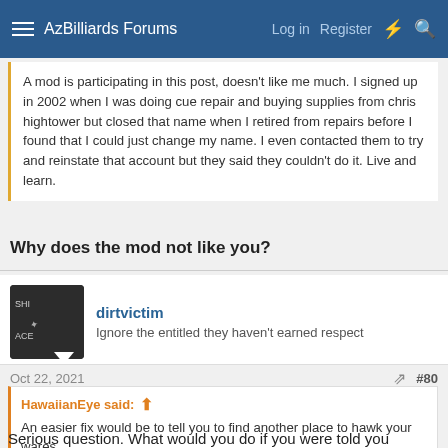AzBilliards Forums — Log in  Register
A mod is participating in this post, doesn't like me much. I signed up in 2002 when I was doing cue repair and buying supplies from chris hightower but closed that name when I retired from repairs before I found that I could just change my name. I even contacted them to try and reinstate that account but they said they couldn't do it. Live and learn.
Why does the mod not like you?
dirtvictim
Ignore the entitled they haven't earned respect
Oct 22, 2021  #80
HawaiianEye said:
An easier fix would be to tell you to find another place to hawk your wares.
Serious question. What would you do if you were told you